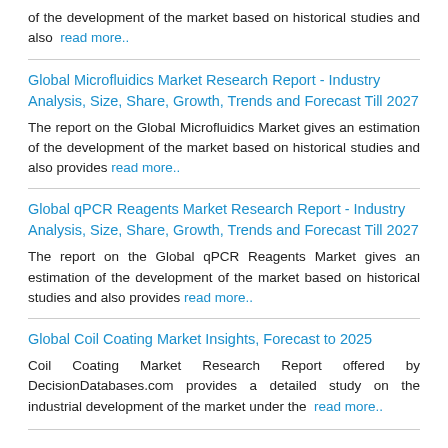of the development of the market based on historical studies and also  read more..
Global Microfluidics Market Research Report - Industry Analysis, Size, Share, Growth, Trends and Forecast Till 2027
The report on the Global Microfluidics Market gives an estimation of the development of the market based on historical studies and also provides read more..
Global qPCR Reagents Market Research Report - Industry Analysis, Size, Share, Growth, Trends and Forecast Till 2027
The report on the Global qPCR Reagents Market gives an estimation of the development of the market based on historical studies and also provides read more..
Global Coil Coating Market Insights, Forecast to 2025
Coil Coating Market Research Report offered by DecisionDatabases.com provides a detailed study on the industrial development of the market under the  read more..